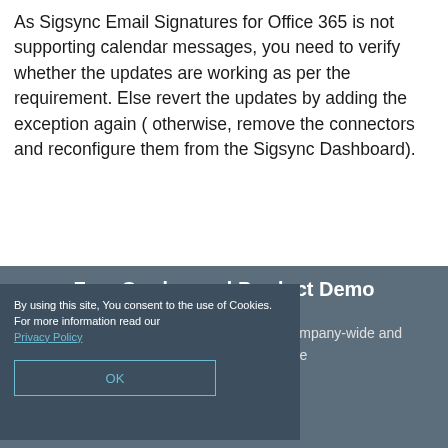As Sigsync Email Signatures for Office 365 is not supporting calendar messages, you need to verify whether the updates are working as per the requirement. Else revert the updates by adding the exception again ( otherwise, remove the connectors and reconfigure them from the Sigsync Dashboard).
[Figure (screenshot): Dark grey banner section at the bottom of the page showing a cookie consent popup overlay on the left and a Free On-demand Product Demo section. The cookie popup contains text about consent to cookies with a Privacy Policy link and an OK button. Behind it, the demo banner shows the title 'Free On-demand Product Demo' and text about Sigsync email signature service.]